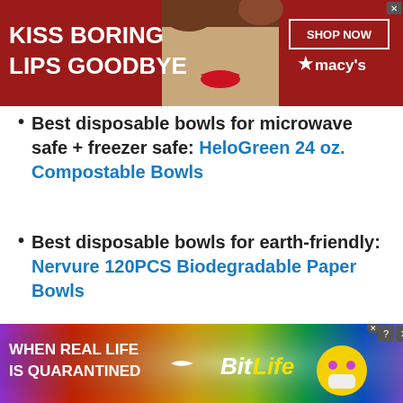[Figure (screenshot): Top advertisement banner: dark red background with text 'KISS BORING LIPS GOODBYE', a woman's face with red lips, 'SHOP NOW' button and Macy's logo on the right]
Best disposable bowls for microwave safe + freezer safe: HeloGreen 24 oz. Compostable Bowls
Best disposable bowls for earth-friendly: Nervure 120PCS Biodegradable Paper Bowls
[Figure (screenshot): BESTSELLER NO. 1 orange badge in a bordered box]
[Figure (screenshot): Bottom advertisement banner: BitLife game ad with rainbow gradient background, text 'WHEN REAL LIFE IS QUARANTINED', BitLife logo, and game character icons]